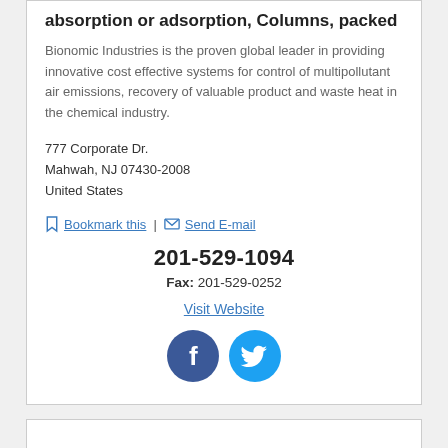absorption or adsorption, Columns, packed
Bionomic Industries is the proven global leader in providing innovative cost effective systems for control of multipollutant air emissions, recovery of valuable product and waste heat in the chemical industry.
777 Corporate Dr.
Mahwah, NJ 07430-2008
United States
Bookmark this | Send E-mail
201-529-1094
Fax: 201-529-0252
Visit Website
[Figure (other): Facebook and Twitter social media icons]